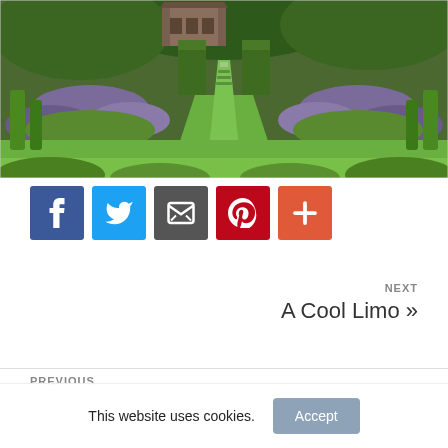[Figure (photo): Aerial/elevated view of a formal English garden with lawn, hedgerows, flower beds with purple lavender, a water channel or path leading toward a stone manor house surrounded by mature trees]
[Figure (infographic): Row of five social media share buttons: Facebook (blue), Twitter (light blue), Email/Mail (dark grey), Pinterest (red), More/Plus (orange-red)]
NEXT
A Cool Limo »
PREVIOUS
This website uses cookies.
Accept